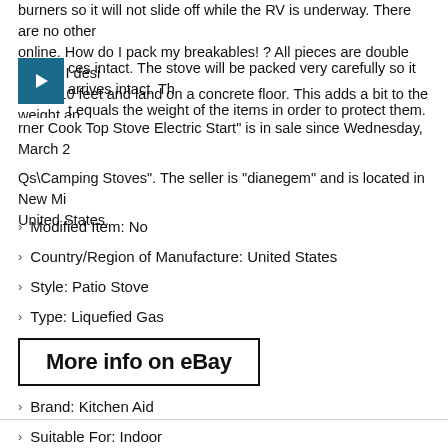burners so it will not slide off while the RV is underway. There are no other online. How do I pack my breakables! ? All pieces are double boxed. I desi about 10 feet and land on a concrete floor. This adds a bit to the weight an ces intact. The stove will be packed very carefully so it arrives intact. Th t equals the weight of the items in order to protect them. The item "Kitch rner Cook Top Stove Electric Start" is in sale since Wednesday, March 2 porting Goods\Outdoor Sports\Camping & Hiking\Camping Cooking Sup Qs\Camping Stoves". The seller is "dianegem" and is located in New Mi United States.
Modified Item: No
Country/Region of Manufacture: United States
Style: Patio Stove
Type: Liquefied Gas
MPN: KGCR055GBL05
Number of Burners: 2
Brand: Kitchen Aid
Suitable For: Indoor
More info on eBay